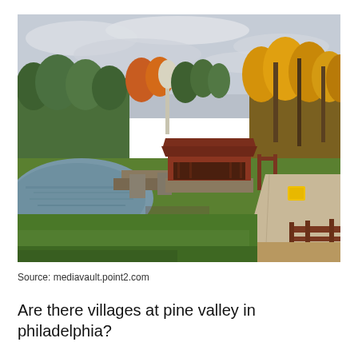[Figure (photo): Autumn landscape photo showing a red covered bridge over a calm reflective pond, surrounded by colorful fall foliage trees (orange, yellow, green), grass embankment, gravel road on the right, and overcast sky.]
Source: mediavault.point2.com
Are there villages at pine valley in philadelphia?